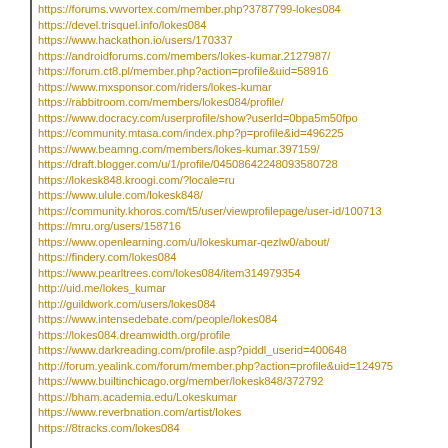https://forums.vwvortex.com/member.php?3787799-lokes084
https://devel.trisquel.info/lokes084
https://www.hackathon.io/users/170337
https://androidforums.com/members/lokes-kumar.2127987/
https://forum.ct8.pl/member.php?action=profile&uid=58916
https://www.mxsponsor.com/riders/lokes-kumar
https://rabbitroom.com/members/lokes084/profile/
https://www.docracy.com/userprofile/show?userId=0bpa5m50fpo
https://community.mtasa.com/index.php?p=profile&id=496225
https://www.beamng.com/members/lokes-kumar.397159/
https://draft.blogger.com/u/1/profile/04508642248093580728
https://lokesk848.kroogi.com/?locale=ru
https://www.ulule.com/lokesk848/
https://community.khoros.com/t5/user/viewprofilepage/user-id/100713
https://mru.org/users/158716
https://www.openlearning.com/u/lokeskumar-qezlw0/about/
https://findery.com/lokes084
https://www.pearltrees.com/lokes084/item314979354
http://uid.me/lokes_kumar
http://guildwork.com/users/lokes084
https://www.intensedebate.com/people/lokes084
https://lokes084.dreamwidth.org/profile
https://www.darkreading.com/profile.asp?piddl_userid=400648
http://forum.yealink.com/forum/member.php?action=profile&uid=124975
https://www.builtinchicago.org/member/lokesk848/372792
https://bham.academia.edu/Lokeskumar
https://www.reverbnation.com/artist/lokes
https://8tracks.com/lokes084